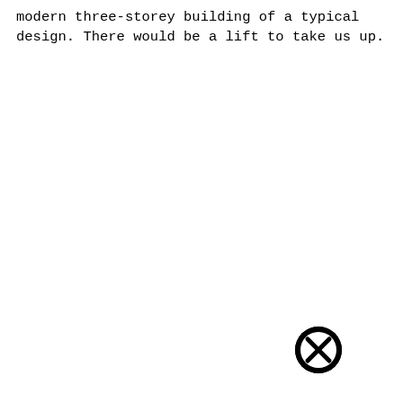modern three-storey building of a typical design. There would be a lift to take us up.
[Figure (other): A circular black icon with an X symbol inside, resembling a close/cancel button.]